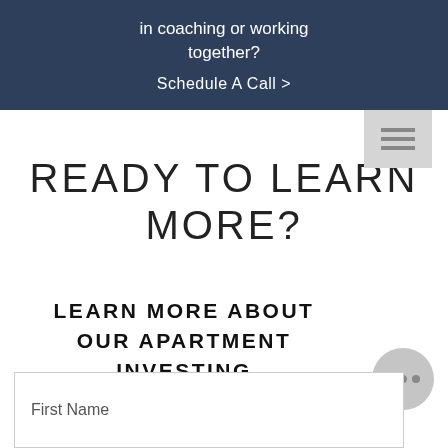in coaching or working together?
Schedule A Call >
READY TO LEARN MORE?
LEARN MORE ABOUT OUR APARTMENT INVESTING OPPORTUNITIES BY CONTACTING US NOW.
First Name